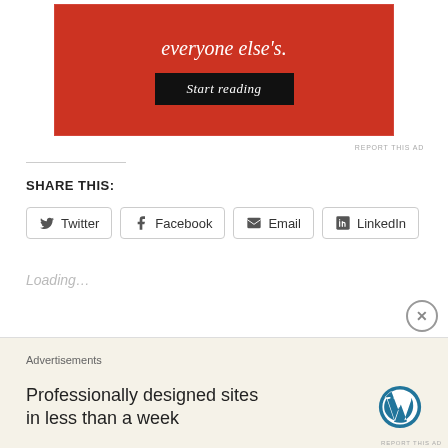[Figure (screenshot): Red advertisement banner with white italic text 'everyone else's.' and a dark 'Start reading' button]
REPORT THIS AD
SHARE THIS:
Twitter Facebook Email LinkedIn
Loading...
[Figure (screenshot): WordPress advertisement banner with text 'Professionally designed sites in less than a week' and WordPress logo]
Advertisements
REPORT THIS AD